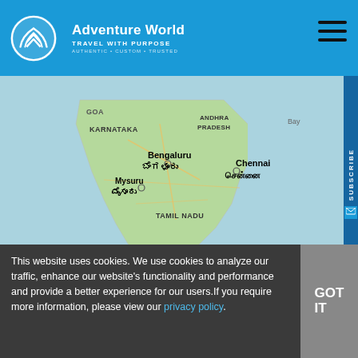Adventure World TRAVEL WITH PURPOSE AUTHENTIC • CUSTOM • TRUSTED
[Figure (map): Google Maps screenshot showing South India including Karnataka, Andhra Pradesh, Tamil Nadu, Kerala states. Cities labeled: Bengaluru (ಬೆಂಗಳೂರು), Chennai (சென்னை), Mysuru (ಮೈಸೂರು). Regions labeled: GOA, KARNATAKA, ANDHRA PRADESH, TAMIL NADU, KERALA, Bay of Bengal. Google logo and map attribution visible.]
View All Days
DAY 1 BENGALURU
This website uses cookies. We use cookies to analyze our traffic, enhance our website's functionality and performance and provide a better experience for our users. If you require more information, please view our privacy policy.